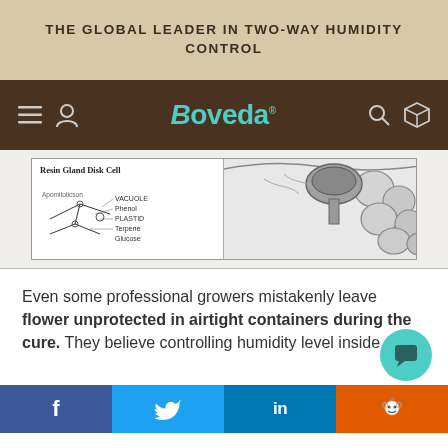THE GLOBAL LEADER IN TWO-WAY HUMIDITY CONTROL
[Figure (logo): Boveda navigation bar with hamburger menu, user icon, Boveda logo in teal, search icon, and box icon on dark brown background]
[Figure (illustration): Scientific diagram of Resin Gland Disk Cell showing plant cell anatomy with labels: Resin Gland Disk Cell, vacuole, phenol, plastid, terpene, glucose]
Even some professional growers mistakenly leave flower unprotected in airtight containers during the cure. They believe controlling humidity level inside
f  Twitter  in  Reddit social share bar